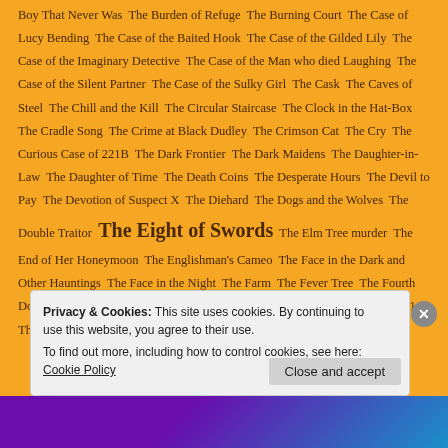Boy That Never Was The Burden of Refuge The Burning Court The Case of Lucy Bending The Case of the Baited Hook The Case of the Gilded Lily The Case of the Imaginary Detective The Case of the Man who died Laughing The Case of the Silent Partner The Case of the Sulky Girl The Cask The Caves of Steel The Chill and the Kill The Circular Staircase The Clock in the Hat-Box The Cradle Song The Crime at Black Dudley The Crimson Cat The Cry The Curious Case of 221B The Dark Frontier The Dark Maidens The Daughter-in-Law The Daughter of Time The Death Coins The Desperate Hours The Devil to Pay The Devotion of Suspect X The Diehard The Dogs and the Wolves The Double Traitor The Eight of Swords The Elm Tree murder The End of Her Honeymoon The Englishman's Cameo The Face in the Dark and Other Hauntings The Face in the Night The Farm The Fever Tree The Fourth Door The Franchise Affair The Geographer's Library The Ghost of Flight 401 The Girl in Cabin
Privacy & Cookies: This site uses cookies. By continuing to use this website, you agree to their use.
To find out more, including how to control cookies, see here: Cookie Policy